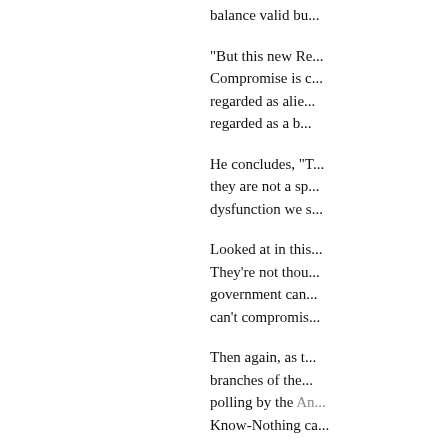balance valid bu...
"But this new Re... Compromise is c... regarded as alie... regarded as a b...
He concludes, "T... they are not a sp... dysfunction we s...
Looked at in this... They're not thou... government can... can't compromis...
Then again, as t... branches of the... polling by the An... Know-Nothing ca...
This Week in Be...
We've long said... used the deaths...